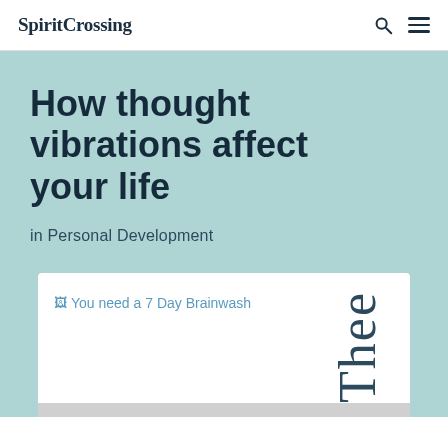SpiritCrossing
How thought vibrations affect your life
in Personal Development
[Figure (screenshot): Broken image placeholder showing alt text 'You need a 7 Day Brainwash' with a small image icon, next to vertically-written text 'Thee']